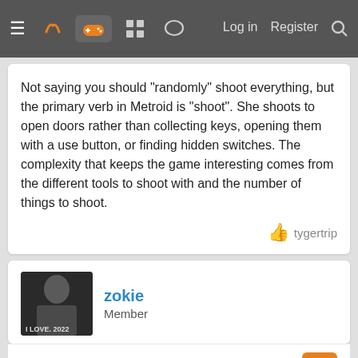Navigation bar with menu, logo, icons, Log in, Register, Search
Not saying you should "randomly" shoot everything, but the primary verb in Metroid is "shoot". She shoots to open doors rather than collecting keys, opening them with a use button, or finding hidden switches. The complexity that keeps the game interesting comes from the different tools to shoot with and the number of things to shoot.
tygertrip
[Figure (photo): User avatar for zokie - person with text 'I LOVE 2022']
zokie
Member
Oct 19, 2021
SpongebobSquaredance said:
[Figure (screenshot): Metroid Dread game title screen/banner image]